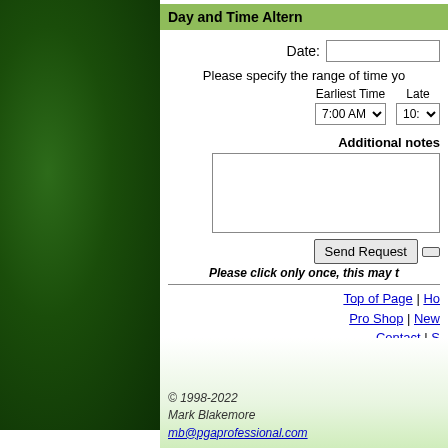[Figure (photo): Green grass texture sidebar on left side of page]
Day and Time Altern
Date:
Please specify the range of time yo
Earliest Time  Late
7:00 AM  10:
Additional notes
Send Request
Please click only once, this may t
Top of Page | Ho
Pro Shop | New
Contact | S
© 1998-2022
Mark Blakemore
mb@pgaprofessional.com